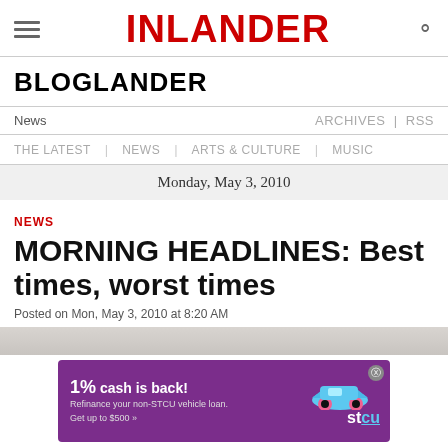INLANDER
BLOGLANDER
News    ARCHIVES | RSS
THE LATEST | NEWS | ARTS & CULTURE | MUSIC
Monday, May 3, 2010
NEWS
MORNING HEADLINES: Best times, worst times
Posted on Mon, May 3, 2010 at 8:20 AM
[Figure (photo): Article image strip - grey photo partial]
[Figure (other): STCU ad banner: 1% cash is back! Refinance your non-STCU vehicle loan. Get up to $500 >>]